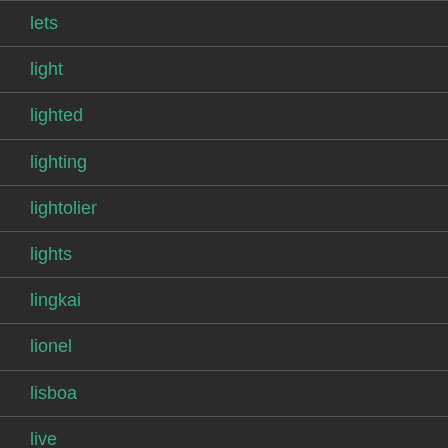lets
light
lighted
lighting
lightolier
lights
lingkai
lionel
lisboa
live
liveaboard